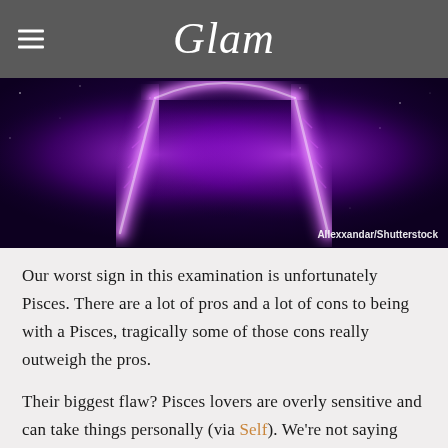Glam
[Figure (photo): Dark purple cosmic/nebula background with glowing purple Pisces constellation symbol (two fish shape). Credit: Allexxandar/Shutterstock]
Allexxandar/Shutterstock
Our worst sign in this examination is unfortunately Pisces. There are a lot of pros and a lot of cons to being with a Pisces, tragically some of those cons really outweigh the pros.
Their biggest flaw? Pisces lovers are overly sensitive and can take things personally (via Self). We're not saying being sensitive is a bad thing, but when they're so sensitive that they're constantly on the verge of